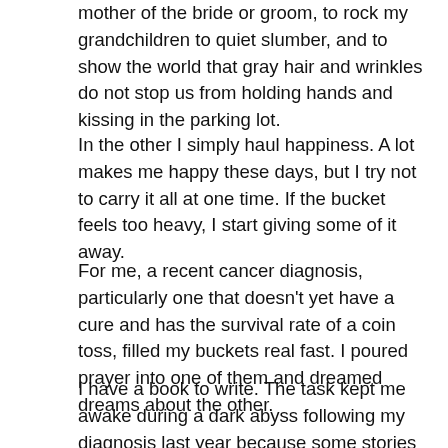mother of the bride or groom, to rock my grandchildren to quiet slumber, and to show the world that gray hair and wrinkles do not stop us from holding hands and kissing in the parking lot.
In the other I simply haul happiness. A lot makes me happy these days, but I try not to carry it all at one time. If the bucket feels too heavy, I start giving some of it away.
For me, a recent cancer diagnosis, particularly one that doesn't yet have a cure and has the survival rate of a coin toss, filled my buckets real fast. I poured prayer into one of them and dreamed dreams about the other.
I have a book to write. The task kept me awake during a dark abyss following my diagnosis last year because some stories are just too good to end with us. It's a